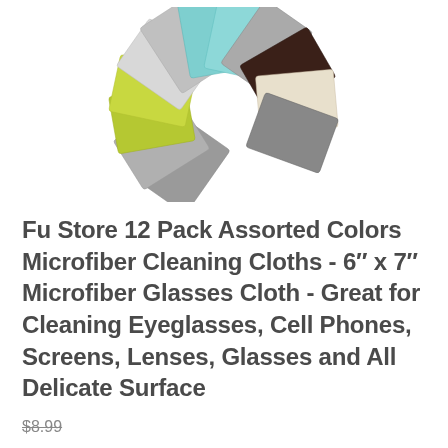[Figure (photo): A fan arrangement of 12 assorted colored microfiber cleaning cloths arranged in a circular/wreath pattern. Colors include gray, green/lime, white/light gray, teal/aqua, dark brown/black, and beige, fanned out on a white background.]
Fu Store 12 Pack Assorted Colors Microfiber Cleaning Cloths - 6" x 7" Microfiber Glasses Cloth - Great for Cleaning Eyeglasses, Cell Phones, Screens, Lenses, Glasses and All Delicate Surface
$8.99